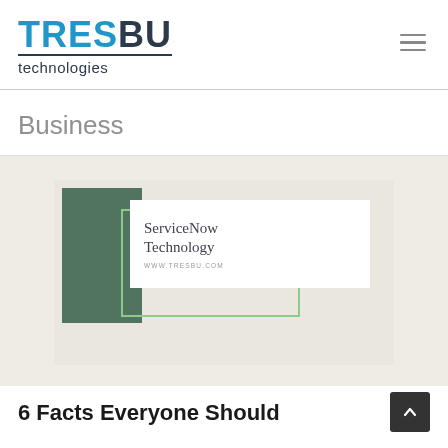TRESBU technologies
Business
[Figure (illustration): ServiceNow Technology promotional graphic with dark green rectangle, light green outlined rectangle, and white card showing 'ServiceNow Technology' and 'WWW.TRESBU.COM']
6 Facts Everyone Should